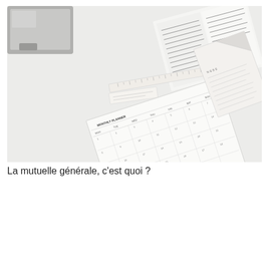[Figure (photo): Overhead photo of a white desk with a laptop, open books with handwritten notes, loose papers, sticky notes, and a monthly planner/calendar grid sheet, all arranged on a light surface.]
La mutuelle générale, c'est quoi ?